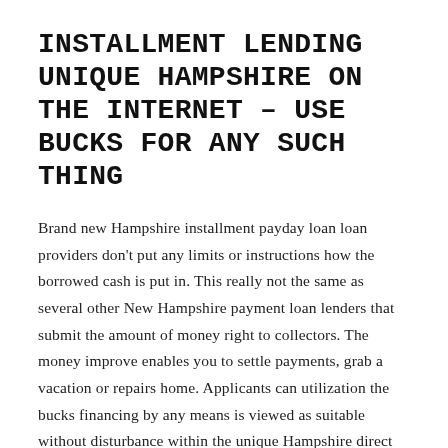INSTALLMENT LENDING UNIQUE HAMPSHIRE ON THE INTERNET – USE BUCKS FOR ANY SUCH THING
Brand new Hampshire installment payday loan loan providers don't put any limits or instructions how the borrowed cash is put in. This really not the same as several other New Hampshire payment loan lenders that submit the amount of money right to collectors. The money improve enables you to settle payments, grab a vacation or repairs home. Applicants can utilization the bucks financing by any means is viewed as suitable without disturbance within the unique Hampshire direct lender.